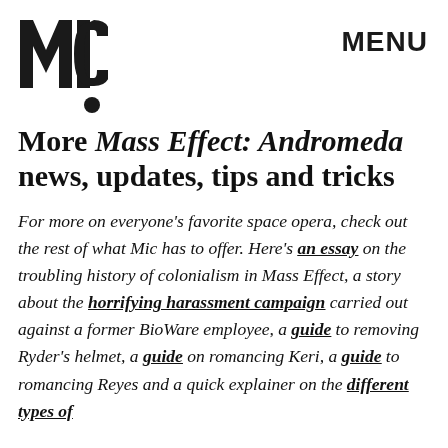MIC   MENU
More Mass Effect: Andromeda news, updates, tips and tricks
For more on everyone's favorite space opera, check out the rest of what Mic has to offer. Here's an essay on the troubling history of colonialism in Mass Effect, a story about the horrifying harassment campaign carried out against a former BioWare employee, a guide to removing Ryder's helmet, a guide on romancing Keri, a guide to romancing Reyes and a quick explainer on the different types of